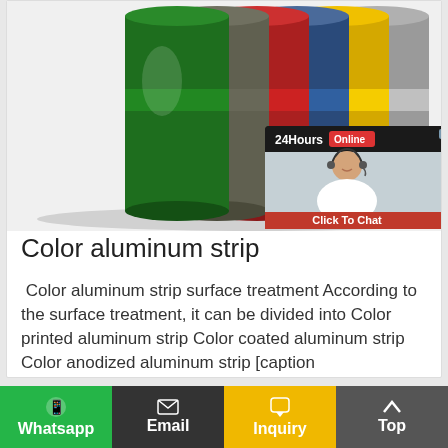[Figure (photo): Stack of colorful aluminum tape rolls/reels in multiple colors including green, gray, red, blue, yellow, silver. A customer service chat widget is overlaid in the top right showing a smiling female agent with headset, header reading '24Hours Online', and a 'Click To Chat' red button.]
Color aluminum strip
Color aluminum strip surface treatment According to the surface treatment, it can be divided into Color printed aluminum strip Color coated aluminum strip Color anodized aluminum strip [caption id="attachment_3658" align="aligncenter"…
Whatsapp   Email   Inquiry   Top